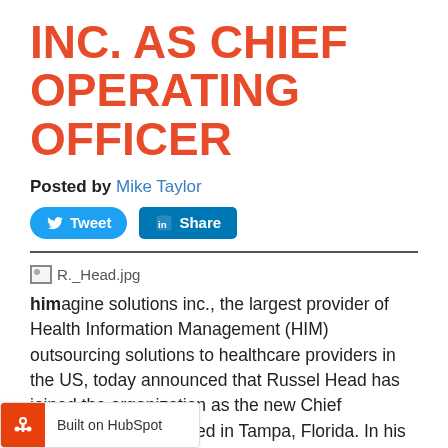INC. AS CHIEF OPERATING OFFICER
Posted by Mike Taylor
[Figure (screenshot): Tweet and LinkedIn Share social media buttons]
[Figure (photo): R._Head.jpg broken image placeholder]
himagine solutions inc., the largest provider of Health Information Management (HIM) outsourcing solutions to healthcare providers in the US, today announced that Russel Head has joined the organization as the new Chief Operating Officer based in Tampa, Florida. In his role Mr. Head will be I client and revenue generating initiatives including sales and client management, as
[Figure (logo): Built on HubSpot badge]